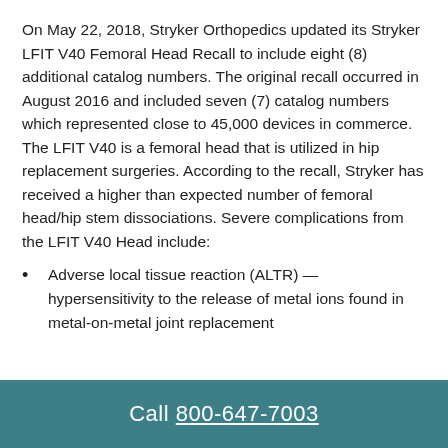On May 22, 2018, Stryker Orthopedics updated its Stryker LFIT V40 Femoral Head Recall to include eight (8) additional catalog numbers. The original recall occurred in August 2016 and included seven (7) catalog numbers which represented close to 45,000 devices in commerce. The LFIT V40 is a femoral head that is utilized in hip replacement surgeries. According to the recall, Stryker has received a higher than expected number of femoral head/hip stem dissociations. Severe complications from the LFIT V40 Head include:
Adverse local tissue reaction (ALTR) — hypersensitivity to the release of metal ions found in metal-on-metal joint replacement
Call 800-647-7003